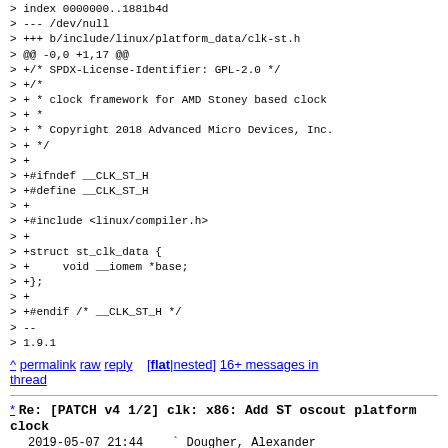> index 0000000..1881b4d
> --- /dev/null
> +++ b/include/linux/platform_data/clk-st.h
> @@ -0,0 +1,17 @@
> +/* SPDX-License-Identifier: GPL-2.0 */
> +/*
> + * clock framework for AMD Stoney based clock
> + *
> + * Copyright 2018 Advanced Micro Devices, Inc.
> + */
> +
> +#ifndef __CLK_ST_H
> +#define __CLK_ST_H
> +
> +#include <linux/compiler.h>
> +
> +struct st_clk_data {
> +     void __iomem *base;
> +};
> +
> +#endif /* __CLK_ST_H */
> --
> 1.9.1
^ permalink raw reply [flat|nested] 16+ messages in thread
* Re: [PATCH v4 1/2] clk: x86: Add ST oscout platform clock
  2019-05-07 21:44   ` Dougher, Alexander